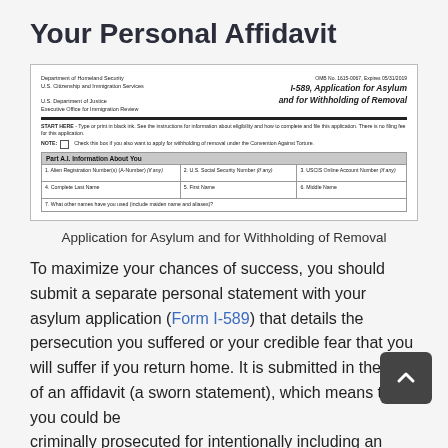Your Personal Affidavit
[Figure (screenshot): Screenshot of Form I-589, Application for Asylum and for Withholding of Removal. Shows the form header with Department of Homeland Security and U.S. Department of Justice logos, START HERE instructions, a NOTE about Convention Against Torture, Part A.I. Information About You section with fields for Alien Registration Number, U.S. Social Security Number, USCIS Online Account Number, Complete Last Name, First Name, Middle Name, and other names used.]
Application for Asylum and for Withholding of Removal
To maximize your chances of success, you should submit a separate personal statement with your asylum application (Form I-589) that details the persecution you suffered or your credible fear that you will suffer if you return home. It is submitted in the form of an affidavit (a sworn statement), which means that you could be criminally prosecuted for intentionally including an